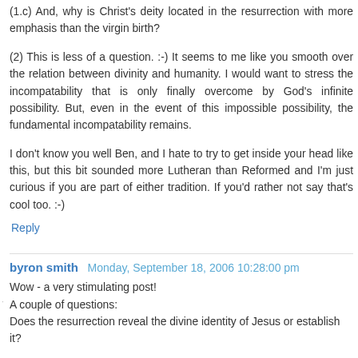(1.c) And, why is Christ's deity located in the resurrection with more emphasis than the virgin birth?
(2) This is less of a question. :-) It seems to me like you smooth over the relation between divinity and humanity. I would want to stress the incompatability that is only finally overcome by God's infinite possibility. But, even in the event of this impossible possibility, the fundamental incompatability remains.
I don't know you well Ben, and I hate to try to get inside your head like this, but this bit sounded more Lutheran than Reformed and I'm just curious if you are part of either tradition. If you'd rather not say that's cool too. :-)
Reply
byron smith  Monday, September 18, 2006 10:28:00 pm
Wow - a very stimulating post!
A couple of questions:
Does the resurrection reveal the divine identity of Jesus or establish it?